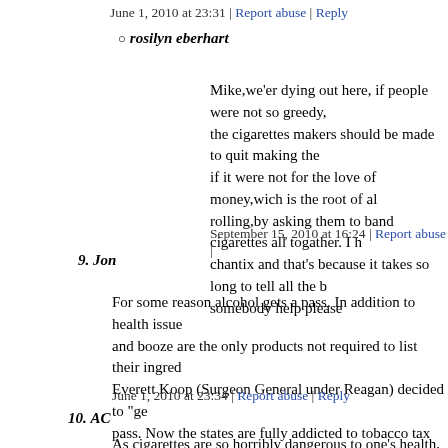June 1, 2010 at 23:31 | Report abuse | Reply
rosilyn eberhart
Mike,we'er dying out here, if people were not so greedy, the cigarettes makers should be made to quit making the if it were not for the love of money,wich is the root of all rolling,by asking them to band cigarettes all togather. I h chantix and that's because it takes so long to tell all the b somebody help please
September 15, 2010 at 16:24 | Report abuse |
9. Jon
For some reason alcohol gets a pass. In addition to health issue and booze are the only products not required to list their ingred Everett Koop (Surgeon General under Reagan) decided to "get pass. Now the states are fully addicted to tobacco tax revenue. be banned - the states can't afford it and don't want it banned. V tax and help pay for some of those outlandish pension, pay, he state and local employees?
June 1, 2010 at 23:34 | Report abuse | Reply
10. AC
As cigarettes are so horribly dangerous to one's health, why on